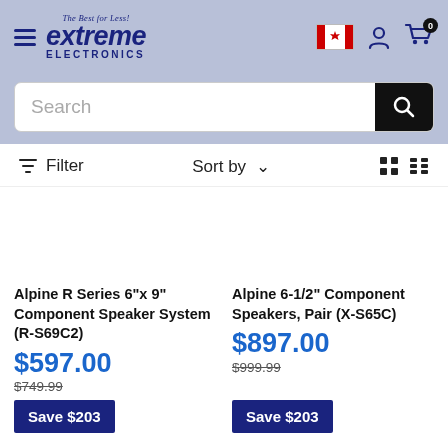[Figure (screenshot): Extreme Electronics website header with logo, Canadian flag, user icon, and cart icon showing 0 items]
[Figure (screenshot): Search bar with text 'Search' and black search button]
Filter   Sort by   (grid/list view icons)
Alpine R Series 6"x 9" Component Speaker System (R-S69C2)
$597.00
$749.99
Save $203
Alpine 6-1/2" Component Speakers, Pair (X-S65C)
$897.00
$999.99
Save $203